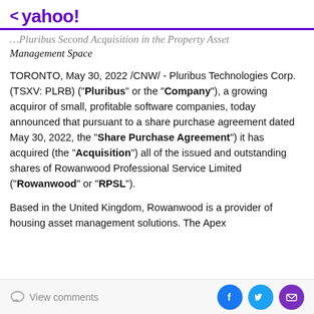< yahoo!
…Pluribus Second Acquisition in the Property Asset Management Space
TORONTO, May 30, 2022 /CNW/ - Pluribus Technologies Corp. (TSXV: PLRB) ("Pluribus" or the "Company"), a growing acquiror of small, profitable software companies, today announced that pursuant to a share purchase agreement dated May 30, 2022, the "Share Purchase Agreement") it has acquired (the "Acquisition") all of the issued and outstanding shares of Rowanwood Professional Service Limited ("Rowanwood" or "RPSL").
Based in the United Kingdom, Rowanwood is a provider of housing asset management solutions. The Apex…
View comments | Social share icons: Facebook, Twitter, Mail